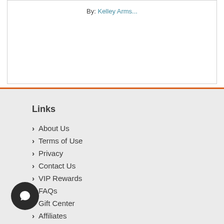By: Kelley Arms...
Links
About Us
Terms of Use
Privacy
Contact Us
VIP Rewards
FAQs
Gift Center
Affiliates
Press
Partners